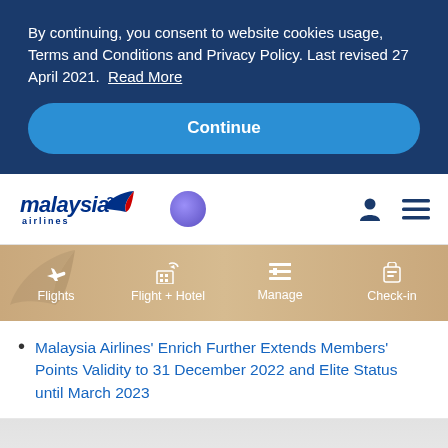By continuing, you consent to website cookies usage, Terms and Conditions and Privacy Policy. Last revised 27 April 2021. Read More
Continue
[Figure (logo): Malaysia Airlines logo with stylized bird and 'malaysia airlines' text, followed by oneworld alliance purple circle logo, user account icon, and hamburger menu icon]
[Figure (infographic): Navigation bar with golden/tan background showing four items: Flights (airplane icon), Flight + Hotel (building+plane icon), Manage (list icon), Check-in (luggage icon). Decorative bird/floral motif on left.]
Malaysia Airlines' Enrich Further Extends Members' Points Validity to 31 December 2022 and Elite Status until March 2023
EXTENDED REWARDS FOR YOUR LOYALTY.